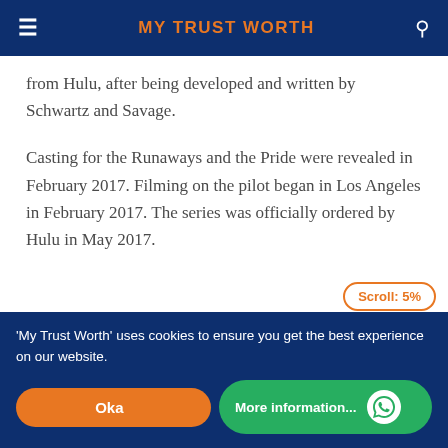MY TRUST WORTH
from Hulu, after being developed and written by Schwartz and Savage.
Casting for the Runaways and the Pride were revealed in February 2017. Filming on the pilot began in Los Angeles in February 2017. The series was officially ordered by Hulu in May 2017.
Scroll: 5%
'My Trust Worth' uses cookies to ensure you get the best experience on our website.
Okay
More information...